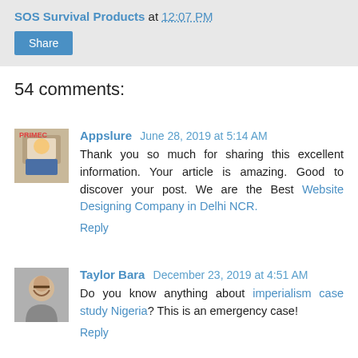SOS Survival Products at 12:07 PM
Share
54 comments:
Appslure June 28, 2019 at 5:14 AM
Thank you so much for sharing this excellent information. Your article is amazing. Good to discover your post. We are the Best Website Designing Company in Delhi NCR.
Reply
Taylor Bara December 23, 2019 at 4:51 AM
Do you know anything about imperialism case study Nigeria? This is an emergency case!
Reply